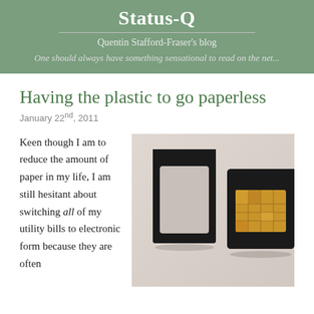Status-Q
Quentin Stafford-Fraser's blog
One should always have something sensational to read on the net...
Having the plastic to go paperless
January 22nd, 2011
Keen though I am to reduce the amount of paper in my life, I am still hesitant about switching all of my utility bills to electronic form because they are often
[Figure (photo): Two SIM cards side by side on a light pink/grey surface. The left card is a standard SIM card adapter frame (black, hollow center). The right card is a micro SIM with a gold chip, also in a black casing.]